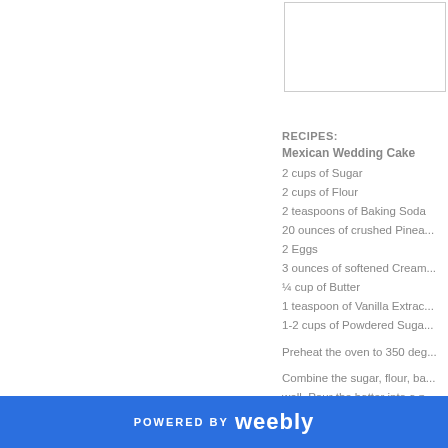[Figure (other): Empty bordered box in upper right area]
RECIPES:
Mexican Wedding Cake
2 cups of Sugar
2 cups of Flour
2 teaspoons of Baking Soda
20 ounces of crushed Pineapple
2 Eggs
3 ounces of softened Cream Cheese
¼ cup of Butter
1 teaspoon of Vanilla Extract
1-2 cups of Powdered Sugar
Preheat the oven to 350 degrees.
Combine the sugar, flour, baking soda, pineapple and eggs, mix well. Pour the batter into a pan and bake for 35-40 minutes or until a toothpick inserted comes out clean.
POWERED BY weebly